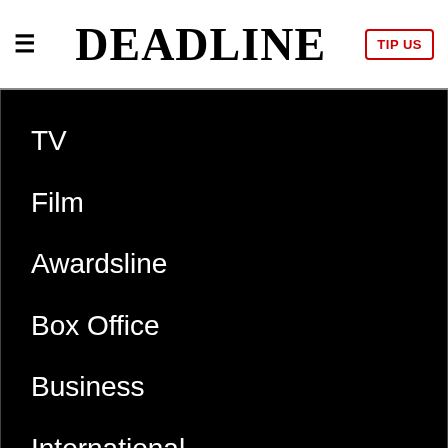DEADLINE | TIP US
TV
Film
Awardsline
Box Office
Business
International
[Figure (screenshot): Ad banner: MEET AIRWEAVE MODULAR, WASHABLE MATTRESS with SPY logo on yellow background]